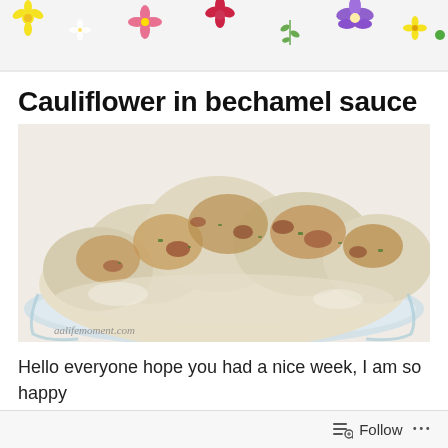[Figure (photo): Blog header with scattered colorful flowers (yellow, pink, purple, red, green) on a white background]
Cauliflower in bechamel sauce
[Figure (photo): Close-up photo of cauliflower in bechamel sauce in a glass baking dish, baked golden-brown with green herbs, with watermark 'aalifemoment.com']
Hello everyone hope you had a nice week, I am so happy
Follow ...